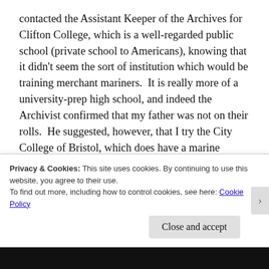contacted the Assistant Keeper of the Archives for Clifton College, which is a well-regarded public school (private school to Americans), knowing that it didn't seem the sort of institution which would be training merchant mariners.  It is really more of a university-prep high school, and indeed the Archivist confirmed that my father was not on their rolls.  He suggested, however, that I try the City College of Bristol, which does have a marine studies program today.  I am waiting to hear back from them.
Privacy & Cookies: This site uses cookies. By continuing to use this website, you agree to their use.
To find out more, including how to control cookies, see here: Cookie Policy